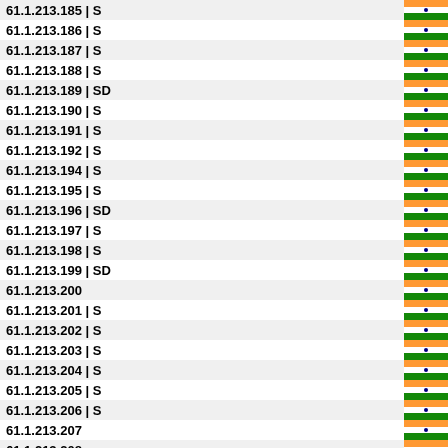| IP | Type | Flag |
| --- | --- |
| 61.1.213.185 | S | IN |
| 61.1.213.186 | S | IN |
| 61.1.213.187 | S | IN |
| 61.1.213.188 | S | IN |
| 61.1.213.189 | SD | IN |
| 61.1.213.190 | S | IN |
| 61.1.213.191 | S | IN |
| 61.1.213.192 | S | IN |
| 61.1.213.194 | S | IN |
| 61.1.213.195 | S | IN |
| 61.1.213.196 | SD | IN |
| 61.1.213.197 | S | IN |
| 61.1.213.198 | S | IN |
| 61.1.213.199 | SD | IN |
| 61.1.213.200 | IN |
| 61.1.213.201 | S | IN |
| 61.1.213.202 | S | IN |
| 61.1.213.203 | S | IN |
| 61.1.213.204 | S | IN |
| 61.1.213.205 | S | IN |
| 61.1.213.206 | S | IN |
| 61.1.213.207 | IN |
| 61.1.213.208 | IN |
| 61.1.213.209 | IN |